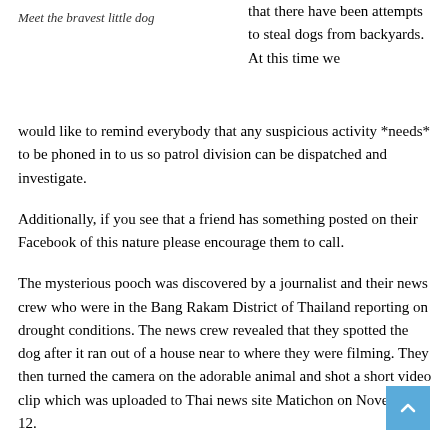Meet the bravest little dog
that there have been attempts to steal dogs from backyards. At this time we would like to remind everybody that any suspicious activity *needs* to be phoned in to us so patrol division can be dispatched and investigate.
Additionally, if you see that a friend has something posted on their Facebook of this nature please encourage them to call.
The mysterious pooch was discovered by a journalist and their news crew who were in the Bang Rakam District of Thailand reporting on drought conditions. The news crew revealed that they spotted the dog after it ran out of a house near to where they were filming. They then turned the camera on the adorable animal and shot a short video clip which was uploaded to Thai news site Matichon on November 12.